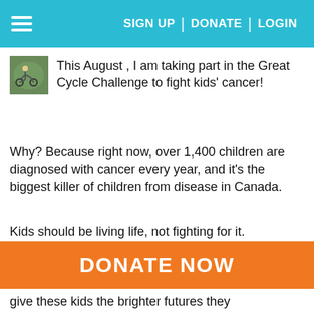SIGN UP | DONATE | LOGIN
This August , I am taking part in the Great Cycle Challenge to fight kids' cancer!
Why? Because right now, over 1,400 children are diagnosed with cancer every year, and it's the biggest killer of children from disease in Canada.
Kids should be living life, not fighting for it.
So I am raising funds through my challenge to help these kids and support SickKids Foundation to allow them to continue their work in developing treatments and finding a cure for childhood cancer.
DONATE NOW
give these kids the brighter futures they